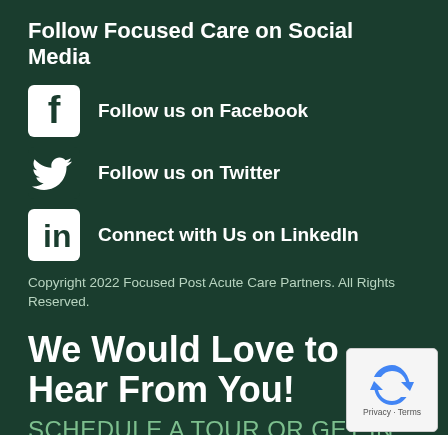Follow Focused Care on Social Media
Follow us on Facebook
Follow us on Twitter
Connect with Us on LinkedIn
Copyright 2022 Focused Post Acute Care Partners. All Rights Reserved.
We Would Love to Hear From You!
SCHEDULE A TOUR OR GET IN TOUCH TODAY
Your Name